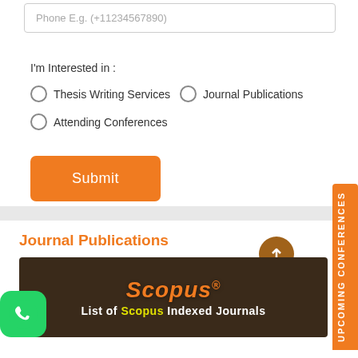Phone E.g. (+11234567890)
I'm Interested in :
Thesis Writing Services
Journal Publications
Attending Conferences
Submit
Journal Publications
[Figure (screenshot): Scopus branded image showing 'Scopus® List of Scopus Indexed Journals' with orange and yellow text on dark background]
UPCOMING CONFERENCES